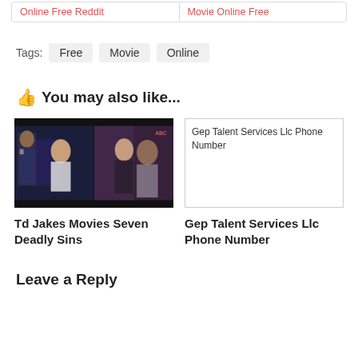Online Free Reddit | Movie Online Free
Tags: Free  Movie  Online
👍 You may also like...
[Figure (photo): Two-panel image: left panel shows a woman in white t-shirt with police officer behind her; right panel shows a couple in close romantic pose. Article thumbnail for Td Jakes Movies Seven Deadly Sins.]
[Figure (photo): Broken/missing image placeholder showing alt text: Gep Talent Services Llc Phone Number]
Td Jakes Movies Seven Deadly Sins
Gep Talent Services Llc Phone Number
Leave a Reply